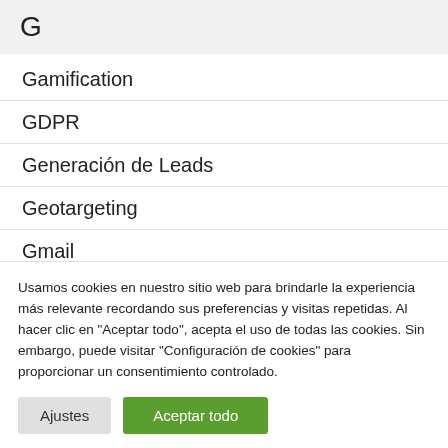G
Gamification
GDPR
Generación de Leads
Geotargeting
Gmail
Usamos cookies en nuestro sitio web para brindarle la experiencia más relevante recordando sus preferencias y visitas repetidas. Al hacer clic en "Aceptar todo", acepta el uso de todas las cookies. Sin embargo, puede visitar "Configuración de cookies" para proporcionar un consentimiento controlado.
Ajustes | Aceptar todo